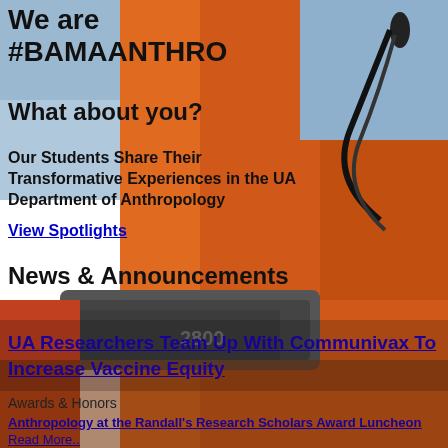[Figure (photo): Background photo of a person wearing an orange jacket/vest, with blue sky visible. Equipment with cables/cords visible in the image.]
We are #BAMAANTHRO
What about you?
Our Students Share Their Transformative Experiences in the UA Department of Anthropology
View Spotlights
News & Announcements
UA Researchers Team Up With Communivax To Increase Vaccine Equity
Awards & Honors
Anthropology at the Randall's Research Scholars Award Luncheon
Read More..